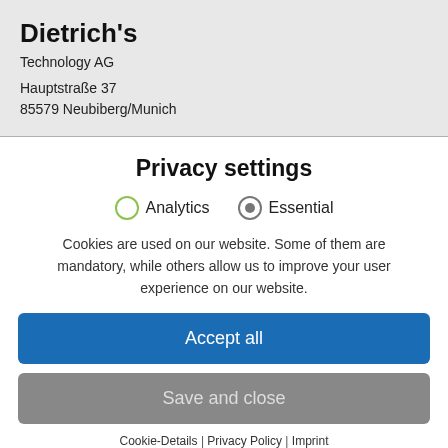Dietrich's
Technology AG
Hauptstraße 37
85579 Neubiberg/Munich
Privacy settings
Analytics   Essential
Cookies are used on our website. Some of them are mandatory, while others allow us to improve your user experience on our website.
Accept all
Save and close
Cookie-Details | Privacy Policy | Imprint